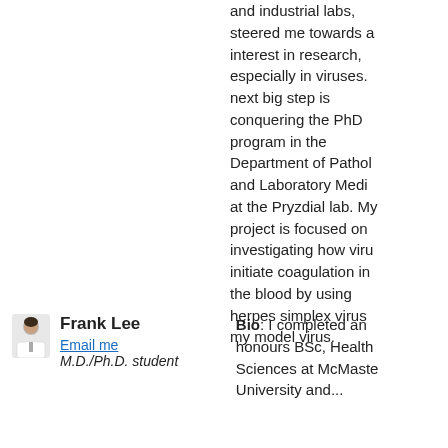and industrial labs, steered me towards a interest in research, especially in viruses. next big step is conquering the PhD program in the Department of Pathology and Laboratory Medicine at the Pryzdial lab. My project is focused on investigating how viruses initiate coagulation in the blood by using herpes simplex virus my model virus.
[Figure (photo): Small headshot photo of Frank Lee, a man in a white coat]
Frank Lee
Email me
M.D./Ph.D. student
Bio: I completed an honours BSc, Health Sciences at McMaster University and...